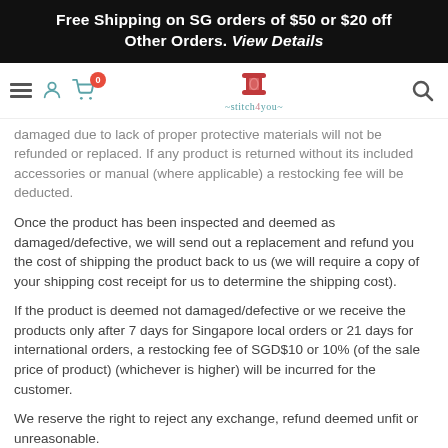Free Shipping on SG orders of $50 or $20 off Other Orders. View Details
[Figure (screenshot): Navigation bar with hamburger menu, person icon, cart icon with badge showing 0, Stitch4You logo in center, and search icon on right]
damaged due to lack of proper protective materials will not be refunded or replaced. If any product is returned without its included accessories or manual (where applicable) a restocking fee will be deducted.
Once the product has been inspected and deemed as damaged/defective, we will send out a replacement and refund you the cost of shipping the product back to us (we will require a copy of your shipping cost receipt for us to determine the shipping cost).
If the product is deemed not damaged/defective or we receive the products only after 7 days for Singapore local orders or 21 days for international orders, a restocking fee of SGD$10 or 10% (of the sale price of product) (whichever is higher) will be incurred for the customer.
We reserve the right to reject any exchange, refund deemed unfit or unreasonable.